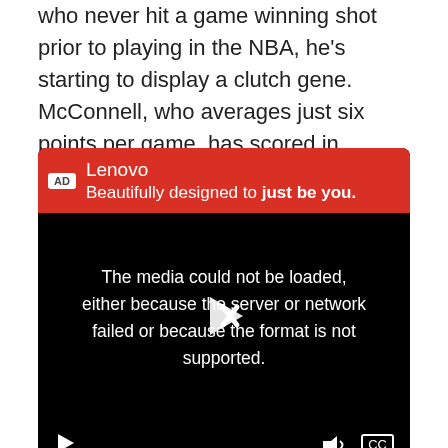who never hit a game winning shot prior to playing in the NBA, he's starting to display a clutch gene. McConnell, who averages just six points per game, has scored in double figures in four of the team's last six games.
[Figure (screenshot): Video advertisement for Lenovo with header 'Beautifully designed to just be you.' and a black video player showing an error message: 'The media could not be loaded, either because the server or network failed or because the format is not supported.' with a play button overlay and video controls (play, volume, CC) at the bottom.]